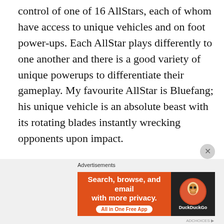control of one of 16 AllStars, each of whom have access to unique vehicles and on foot power-ups. Each AllStar plays differently to one another and there is a good variety of unique powerups to differentiate their gameplay. My favourite AllStar is Bluefang; his unique vehicle is an absolute beast with its rotating blades instantly wrecking opponents upon impact.
Whilst the variety of the AllStars and their powerups are good, you often end up with a number of identical heroes within the same match, as some hero abilities are simply more overpowered than others. I really wish in addition to the AllStars, we had the option to create our own hero and as they levelled
[Figure (screenshot): DuckDuckGo advertisement banner with orange background, text 'Search, browse, and email with more privacy. All in One Free App' and DuckDuckGo logo on dark right panel]